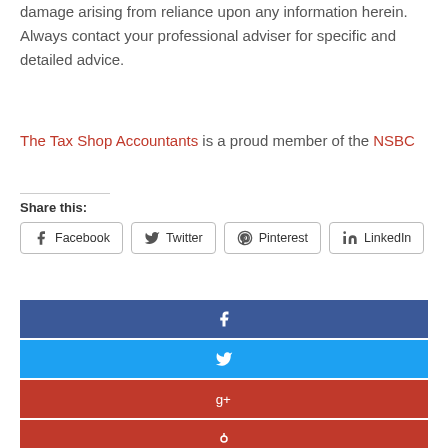damage arising from reliance upon any information herein. Always contact your professional adviser for specific and detailed advice.
The Tax Shop Accountants is a proud member of the NSBC
Share this:
[Figure (infographic): Share buttons: Facebook, Twitter, Pinterest, LinkedIn]
[Figure (infographic): Social share bars: Facebook (blue), Twitter (light blue), Google+ (red), Pinterest (red), Email (grey)]